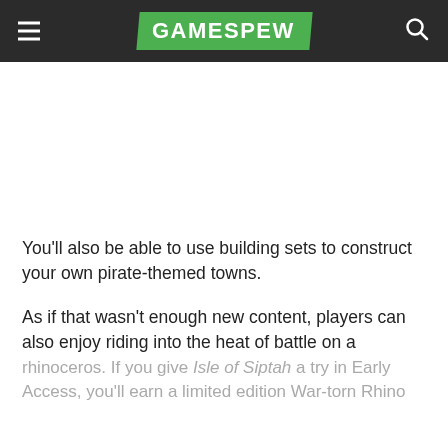GAMESPEW
You'll also be able to use building sets to construct your own pirate-themed towns.
As if that wasn't enough new content, players can also enjoy riding into the heat of battle on a rhinoceros. If you give Isle of Siptah a try in Early Access, you'll earn a limited edition War-torn Rhino